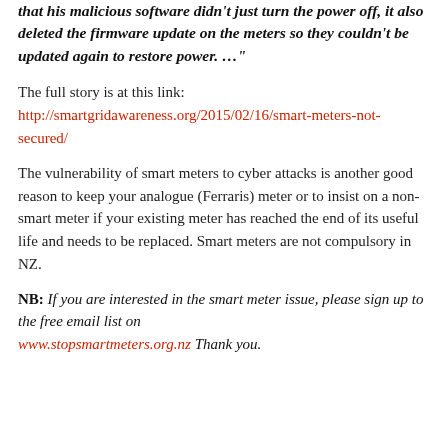that his malicious software didn't just turn the power off, it also deleted the firmware update on the meters so they couldn't be updated again to restore power. …"
The full story is at this link: http://smartgridawareness.org/2015/02/16/smart-meters-not-secured/
The vulnerability of smart meters to cyber attacks is another good reason to keep your analogue (Ferraris) meter or to insist on a non-smart meter if your existing meter has reached the end of its useful life and needs to be replaced. Smart meters are not compulsory in NZ.
NB: If you are interested in the smart meter issue, please sign up to the free email list on www.stopsmartmeters.org.nz  Thank you.